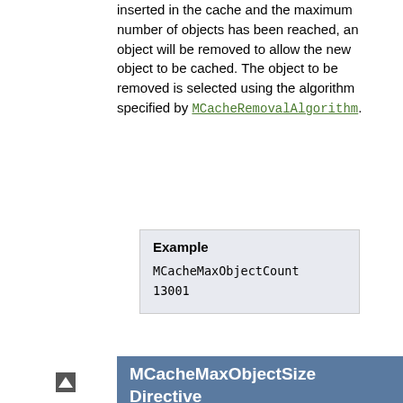inserted in the cache and the maximum number of objects has been reached, an object will be removed to allow the new object to be cached. The object to be removed is selected using the algorithm specified by MCacheRemovalAlgorithm.
Example
MCacheMaxObjectCount 13001
MCacheMaxObjectSize Directive
| Field | Value |
| --- | --- |
| Description: | The maximum size (in bytes) of a document allowed in the cache |
| Syntax: | MCacheMaxObjectSize bytes |
| Default: | MCacheMaxObjectSize |